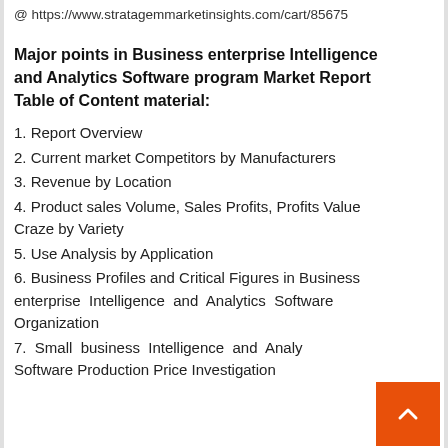@ https://www.stratagemmarketinsights.com/cart/85675
Major points in Business enterprise Intelligence and Analytics Software program Market Report Table of Content material:
1. Report Overview
2. Current market Competitors by Manufacturers
3. Revenue by Location
4. Product sales Volume, Sales Profits, Profits Value Craze by Variety
5. Use Analysis by Application
6. Business Profiles and Critical Figures in Business enterprise Intelligence and Analytics Software Organization
7. Small business Intelligence and Analytics Software Production Price Investigation